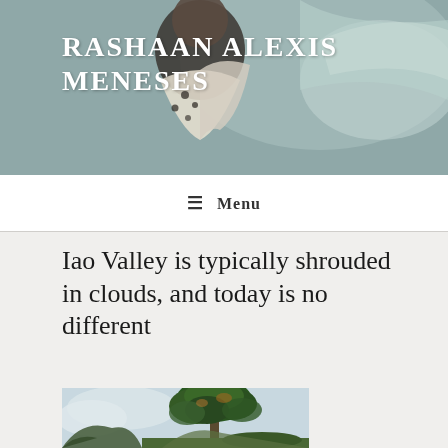[Figure (photo): Header banner with background illustration of a person reading a book, muted teal/grey tones]
RASHAAN ALEXIS MENESES
☰ Menu
Iao Valley is typically shrouded in clouds, and today is no different
[Figure (photo): Photograph of a tall tree with green foliage against a cloudy sky, with a valley and mountain visible in the background]